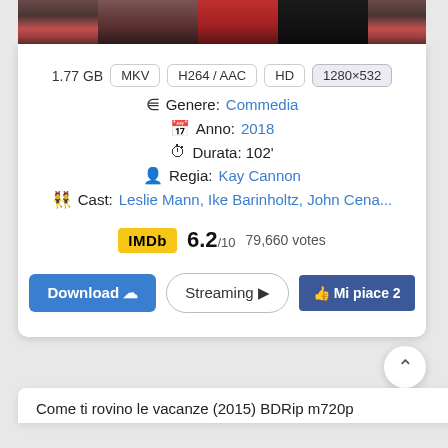[Figure (photo): Partial photo of people at top of card, showing from waist down, dark background]
1.77 GB  MKV  H264 / AAC  HD  1280×532
Genere: Commedia
Anno: 2018
Durata: 102'
Regia: Kay Cannon
Cast: Leslie Mann, Ike Barinholtz, John Cena...
IMDb 6.2/10 79,660 votes
Download  Streaming  Mi piace 2
Come ti rovino le vacanze (2015) BDRip m720p